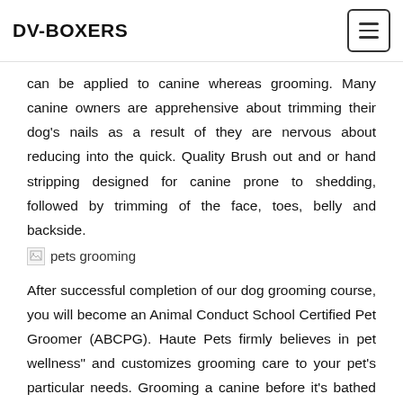DV-BOXERS
can be applied to canine whereas grooming. Many canine owners are apprehensive about trimming their dog's nails as a result of they are nervous about reducing into the quick. Quality Brush out and or hand stripping designed for canine prone to shedding, followed by trimming of the face, toes, belly and backside.
[Figure (photo): Broken image placeholder with alt text 'pets grooming']
After successful completion of our dog grooming course, you will become an Animal Conduct School Certified Pet Groomer (ABCPG). Haute Pets firmly believes in pet wellness" and customizes grooming care to your pet's particular needs. Grooming a canine before it's bathed is vital as it frees up and removes